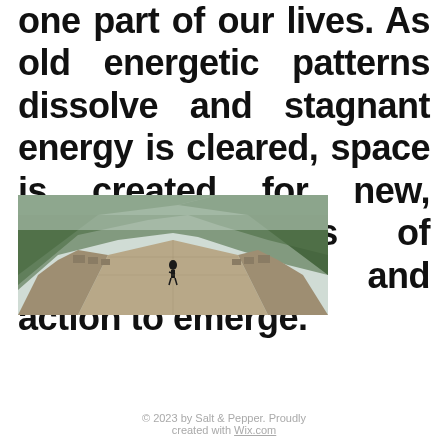one part of our lives. As old energetic patterns dissolve and stagnant energy is cleared, space is created for new, healthy patterns of thought, being and action to emerge.
[Figure (photo): A person walking on the Great Wall of China, surrounded by lush green forested hills in misty conditions. The stone wall stretches into the distance with battlements on both sides.]
© 2023 by Salt & Pepper. Proudly created with Wix.com